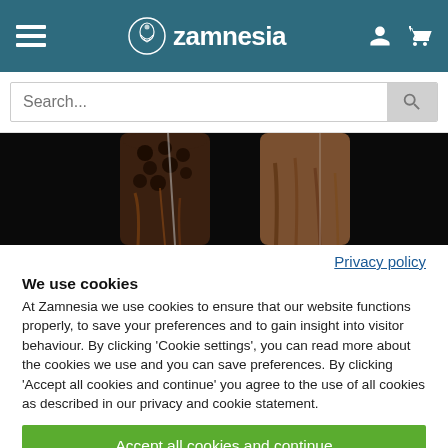Zamnesia
[Figure (screenshot): Two bubble tea / iced coffee drinks with dark background — product image banner]
Privacy policy
We use cookies
At Zamnesia we use cookies to ensure that our website functions properly, to save your preferences and to gain insight into visitor behaviour. By clicking 'Cookie settings', you can read more about the cookies we use and you can save preferences. By clicking 'Accept all cookies and continue' you agree to the use of all cookies as described in our privacy and cookie statement.
Accept all cookies and continue
Cookie settings